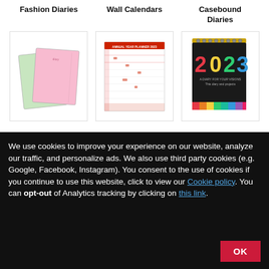Fashion Diaries
Wall Calendars
Casebound Diaries
[Figure (photo): Two pastel-colored fashion diaries stacked at an angle, green and pink covers]
[Figure (photo): A wall planner calendar with red and white grid layout showing months]
[Figure (photo): A 2023 casebound desk diary with spiral binding, black cover with colorful '2023' text and rainbow spine]
We use cookies to improve your experience on our website, analyze our traffic, and personalize ads. We also use third party cookies (e.g. Google, Facebook, Instagram). You consent to the use of cookies if you continue to use this website, click to view our Cookie policy. You can opt-out of Analytics tracking by clicking on this link.